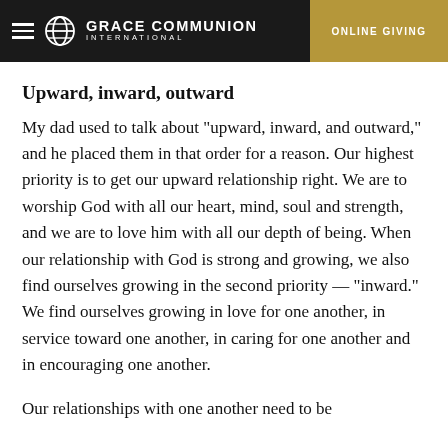GRACE COMMUNION INTERNATIONAL | ONLINE GIVING
Upward, inward, outward
My dad used to talk about "upward, inward, and outward," and he placed them in that order for a reason. Our highest priority is to get our upward relationship right. We are to worship God with all our heart, mind, soul and strength, and we are to love him with all our depth of being. When our relationship with God is strong and growing, we also find ourselves growing in the second priority — "inward." We find ourselves growing in love for one another, in service toward one another, in caring for one another and in encouraging one another.
Our relationships with one another need to be